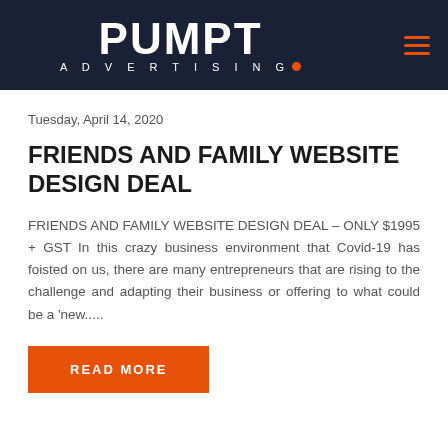[Figure (logo): Pumpt Advertising logo on dark navy background with hamburger menu icon]
Tuesday, April 14, 2020
FRIENDS AND FAMILY WEBSITE DESIGN DEAL
FRIENDS AND FAMILY WEBSITE DESIGN DEAL – ONLY $1995 + GST In this crazy business environment that Covid-19 has foisted on us, there are many entrepreneurs that are rising to the challenge and adapting their business or offering to what could be a 'new.....
READ MORE